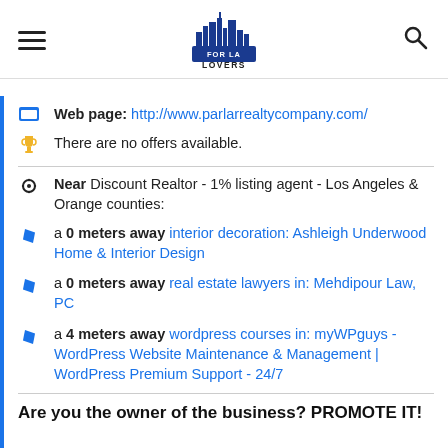FOR LA LOVERS
Web page: http://www.parlarrealtycompany.com/
There are no offers available.
Near Discount Realtor - 1% listing agent - Los Angeles & Orange counties:
a 0 meters away interior decoration: Ashleigh Underwood Home & Interior Design
a 0 meters away real estate lawyers in: Mehdipour Law, PC
a 4 meters away wordpress courses in: myWPguys - WordPress Website Maintenance & Management | WordPress Premium Support - 24/7
Are you the owner of the business? PROMOTE IT!